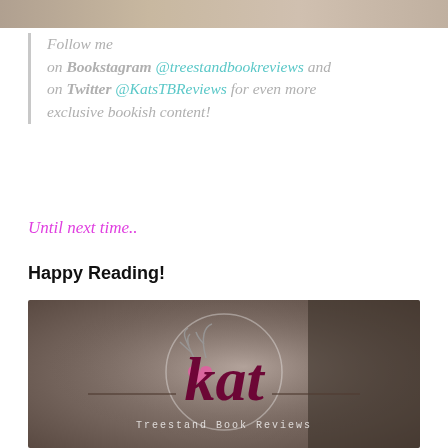[Figure (photo): Top cropped photo strip showing book/instagram image]
Follow me on Bookstagram @treestandbookreviews and on Twitter @KatsTBReviews for even more exclusive bookish content!
Until next time..
Happy Reading!
[Figure (logo): Treestand Book Reviews logo with stylized 'kat' script text and antler/heart illustration on a dark photographic background]